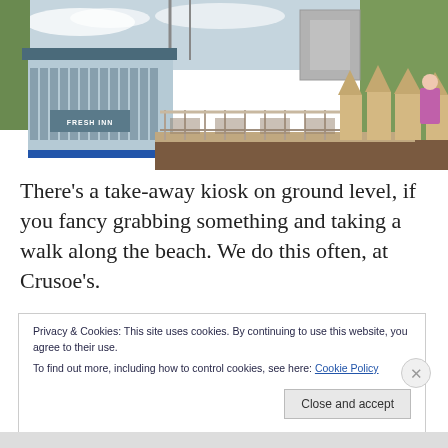[Figure (photo): Photograph of a beach-side building or café (possibly Crusoe's) with a light blue exterior, large windows, wooden deck/terrace, beach huts with wooden roofs on the right, green grassy hillside, grey building in background, cloudy sky.]
There's a take-away kiosk on ground level, if you fancy grabbing something and taking a walk along the beach. We do this often, at Crusoe's.
Privacy & Cookies: This site uses cookies. By continuing to use this website, you agree to their use.
To find out more, including how to control cookies, see here: Cookie Policy
Close and accept